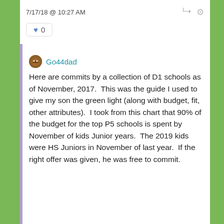7/17/18 @ 10:27 AM
0
Go44dad
Here are commits by a collection of D1 schools as of November, 2017.  This was the guide I used to give my son the green light (along with budget, fit, other attributes).  I took from this chart that 90% of the budget for the top P5 schools is spent by November of kids Junior years.  The 2019 kids were HS Juniors in November of last year.  If the right offer was given, he was free to commit.